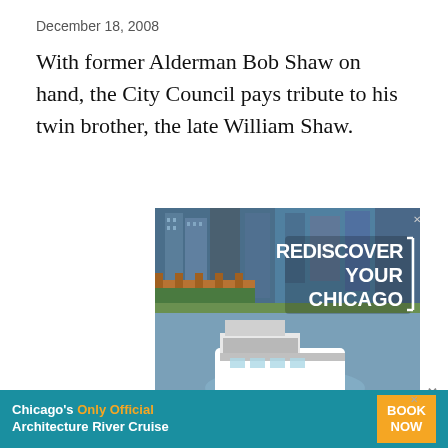December 18, 2008
With former Alderman Bob Shaw on hand, the City Council pays tribute to his twin brother, the late William Shaw.
[Figure (photo): Advertisement for Chicago's First Lady boat tour on the Chicago River with text 'REDISCOVER YOUR CHICAGO' and a boat in the foreground. Bottom bar shows Chicago's First Lady and Chicago Architecture Center logos with 'BOOK NOW' button.]
[Figure (infographic): Bottom banner ad: 'Chicago's Only Official Architecture River Cruise' with 'BOOK NOW' button in orange.]